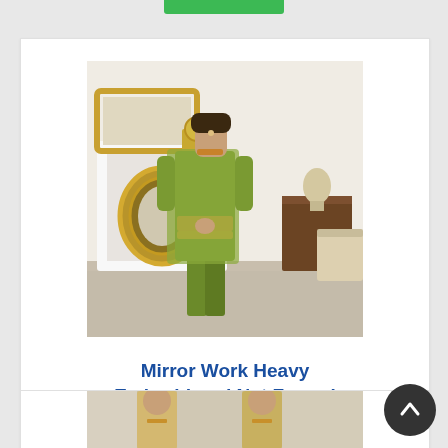[Figure (photo): Woman wearing a green mirror-work heavy embroidered net formal dress, photographed in an ornate room with gold-framed mirrors.]
Mirror Work Heavy Embroidered Net Formal
Rs.5000  Rs.3495
Buy Now
[Figure (photo): Partial view of a second product — a woman in a light gold/beige embroidered formal outfit.]